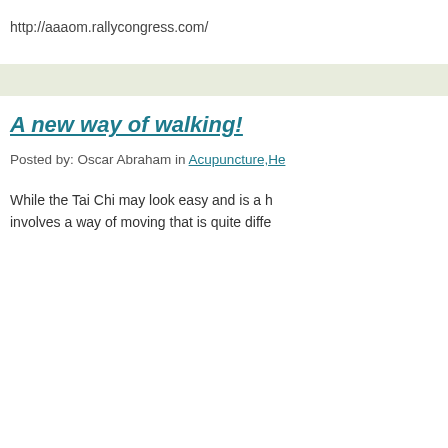http://aaaom.rallycongress.com/
A new way of walking!
Posted by: Oscar Abraham in Acupuncture,He
While the Tai Chi may look easy and is a h involves a way of moving that is quite diffe